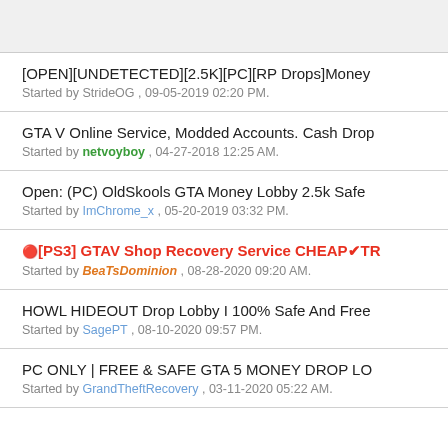[OPEN][UNDETECTED][2.5K][PC][RP Drops]Money
Started by StrideOG , 09-05-2019 02:20 PM.
GTA V Online Service, Modded Accounts. Cash Drop
Started by netvoyboy , 04-27-2018 12:25 AM.
Open: (PC) OldSkools GTA Money Lobby 2.5k Safe
Started by ImChrome_x , 05-20-2019 03:32 PM.
🔴[PS3] GTAV Shop Recovery Service CHEAP✔TR
Started by BeaTsDominion , 08-28-2020 09:20 AM.
HOWL HIDEOUT Drop Lobby I 100% Safe And Free
Started by SagePT , 08-10-2020 09:57 PM.
PC ONLY | FREE & SAFE GTA 5 MONEY DROP LO
Started by GrandTheftRecovery , 03-11-2020 05:22 AM.